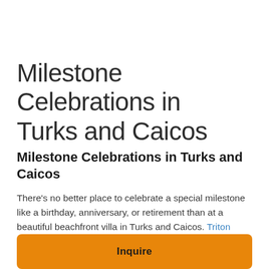Milestone Celebrations in Turks and Caicos
Milestone Celebrations in Turks and Caicos
There's no better place to celebrate a special milestone like a birthday, anniversary, or retirement than at a beautiful beachfront villa in Turks and Caicos. Triton Luxury Villa has hosted a slew of spectacular parties
Inquire